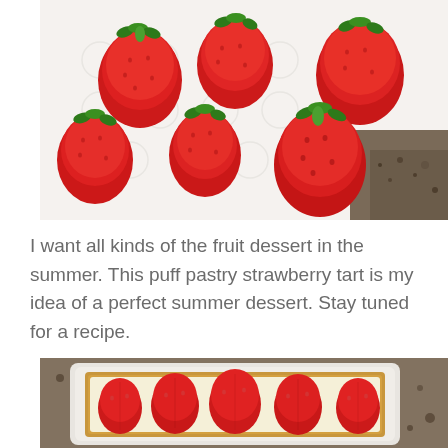[Figure (photo): Overhead photo of fresh red strawberries with green stems arranged on a white paper towel, with granite countertop visible in corner]
I want all kinds of the fruit dessert in the summer. This puff pastry strawberry tart is my idea of a perfect summer dessert. Stay tuned for a recipe.
[Figure (photo): Photo of a puff pastry strawberry tart with sliced strawberries arranged on cream filling on a white rectangular plate, with granite countertop visible in background]